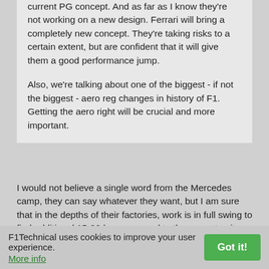current PG concept. And as far as I know they're not working on a new design. Ferrari will bring a completely new concept. They're taking risks to a certain extent, but are confident that it will give them a good performance jump.

Also, we're talking about one of the biggest - if not the biggest - aero reg changes in history of F1. Getting the aero right will be crucial and more important.
I would not believe a single word from the Mercedes camp, they can say whatever they want, but I am sure that in the depths of their factories, work is in full swing to find additional 15-20 hp. compared to the current unit. The regulations on aerodynamics are very strict, so let Ferrari not flatter themselves and must find additional tenths from each area - tyres, aero, engine, pit stops, sim...
F1Technical uses cookies to improve your user experience. More info